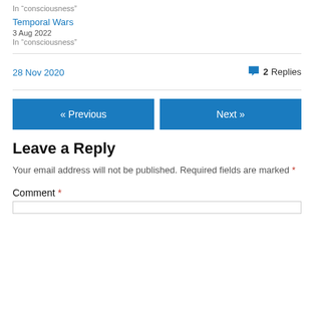In “consciousness”
Temporal Wars
3 Aug 2022
In “consciousness”
28 Nov 2020
2 Replies
« Previous
Next »
Leave a Reply
Your email address will not be published. Required fields are marked *
Comment *